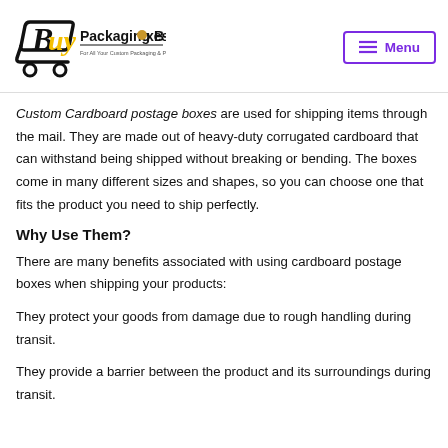[Figure (logo): Buy Packaging Boxes logo with shopping cart icon and tagline 'For All Your Custom Packaging & Printing Requirements']
Custom Cardboard postage boxes are used for shipping items through the mail. They are made out of heavy-duty corrugated cardboard that can withstand being shipped without breaking or bending. The boxes come in many different sizes and shapes, so you can choose one that fits the product you need to ship perfectly.
Why Use Them?
There are many benefits associated with using cardboard postage boxes when shipping your products:
They protect your goods from damage due to rough handling during transit.
They provide a barrier between the product and its surroundings during transit.